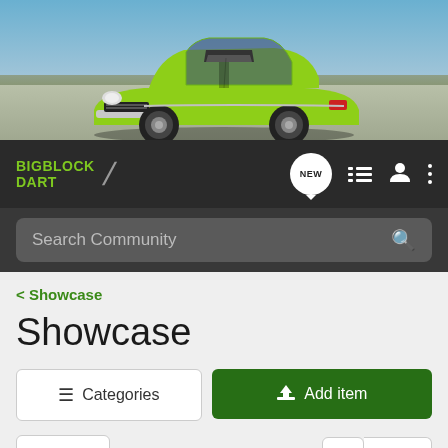[Figure (photo): Hero image of a lime green classic muscle car (Dodge Dart style) on a salt flat, viewed from front-left angle]
BIGBLOCK DART
Search Community
< Showcase
Showcase
≡ Categories
Add item
Filters
5 of 5